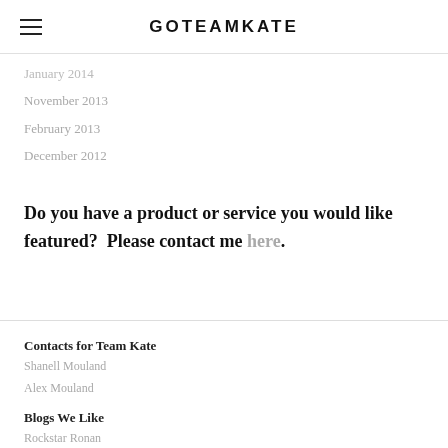GOTEAMKATE
January 2014
November 2013
February 2013
December 2012
Do you have a product or service you would like featured?  Please contact me here.
Contacts for Team Kate
Shanell Mouland
Alex Mouland
Blogs We Like
Rockstar Ronan